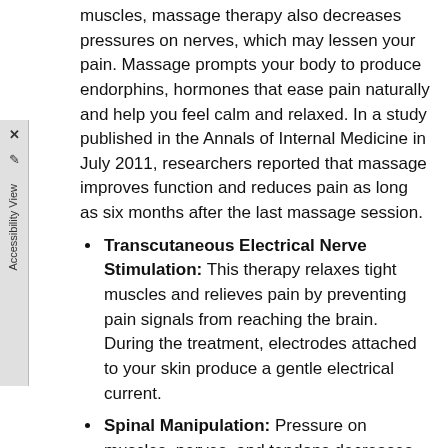muscles, massage therapy also decreases pressures on nerves, which may lessen your pain. Massage prompts your body to produce endorphins, hormones that ease pain naturally and help you feel calm and relaxed. In a study published in the Annals of Internal Medicine in July 2011, researchers reported that massage improves function and reduces pain as long as six months after the last massage session.
Transcutaneous Electrical Nerve Stimulation: This therapy relaxes tight muscles and relieves pain by preventing pain signals from reaching the brain. During the treatment, electrodes attached to your skin produce a gentle electrical current.
Spinal Manipulation: Pressure on muscles, nerves, and tendons decreases when your chiropractor realigns your vertebrae with spinal manipulation. Your doctor their hands or an activator to apply quick thrusts that improve the alignment of your spine. Once the muscles and vertebrae are properly aligned, blood circulation, flexibility, and range of motion also